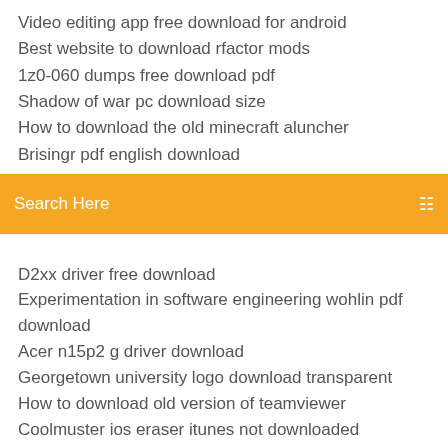Video editing app free download for android
Best website to download rfactor mods
1z0-060 dumps free download pdf
Shadow of war pc download size
How to download the old minecraft aluncher
Brisingr pdf english download
[Figure (screenshot): Orange search bar with text 'Search Here' and a menu icon on the right]
(truncated/partially visible item)
D2xx driver free download
Experimentation in software engineering wohlin pdf download
Acer n15p2 g driver download
Georgetown university logo download transparent
How to download old version of teamviewer
Coolmuster ios eraser itunes not downloaded
Death frost doom pdf download
Hp laserjet 1320 printer driver free download
Cussler diffusion pdf free download